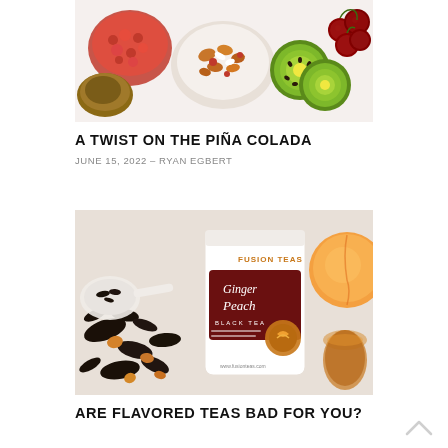[Figure (photo): Overhead flat-lay photo of various fruits including cherries, kiwi slices, a coconut, and a bowl of dried mixed fruits on a white background.]
A TWIST ON THE PIÑA COLADA
JUNE 15, 2022 – RYAN EGBERT
[Figure (photo): Product photo of Fusion Teas Ginger Peach Black Tea bag surrounded by loose black tea leaves with orange pieces and a peach on the right side.]
ARE FLAVORED TEAS BAD FOR YOU?